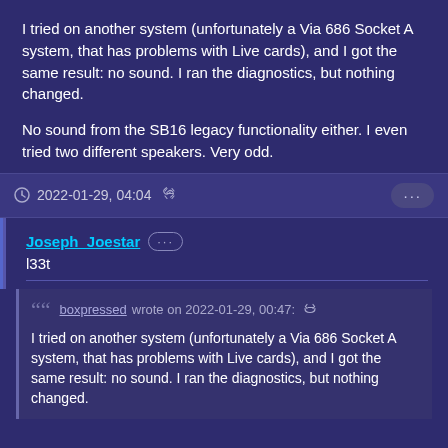I tried on another system (unfortunately a Via 686 Socket A system, that has problems with Live cards), and I got the same result: no sound. I ran the diagnostics, but nothing changed.

No sound from the SB16 legacy functionality either. I even tried two different speakers. Very odd.
2022-01-29, 04:04
Joseph_Joestar
l33t
boxpressed wrote on 2022-01-29, 00:47:
I tried on another system (unfortunately a Via 686 Socket A system, that has problems with Live cards), and I got the same result: no sound. I ran the diagnostics, but nothing changed.